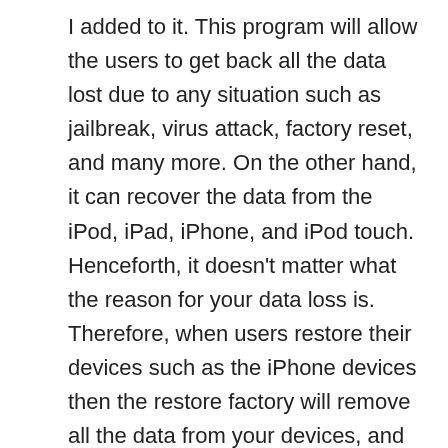I added to it. This program will allow the users to get back all the data lost due to any situation such as jailbreak, virus attack, factory reset, and many more. On the other hand, it can recover the data from the iPod, iPad, iPhone, and iPod touch. Henceforth, it doesn't matter what the reason for your data loss is. Therefore, when users restore their devices such as the iPhone devices then the restore factory will remove all the data from your devices, and it will make your device new. In such a situation, it becomes tough to recover the data from iPhone devices. Therefore, this software is used to improve the data in such conditions. Furthermore, this software will provide the real quality and the actual shape data from the iCloud and the iTunes